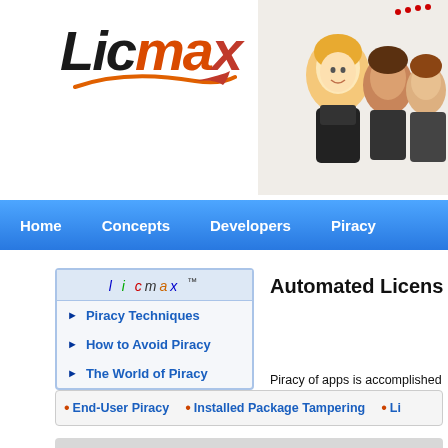[Figure (logo): Licmax logo with italic stylized text and orange swoosh arc]
[Figure (photo): Group of smiling people, website header image]
Home   Concepts   Developers   Piracy
licmax ™
Piracy Techniques
How to Avoid Piracy
The World of Piracy
Automated Licens
Piracy of apps is accomplished at various leve
• End-User Piracy   • Installed Package Tampering   • Li